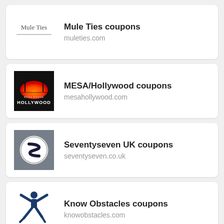[Figure (logo): Mule Ties cursive script logo]
Mule Ties coupons
muleties.com
[Figure (logo): MESA/Hollywood dark square logo with palm tree sunset and Hollywood text]
MESA/Hollywood coupons
mesahollywood.com
[Figure (logo): Seventyseven UK logo with S emblem on circular badge against blurred background]
Seventyseven UK coupons
seventyseven.co.uk
[Figure (logo): Know Obstacles logo: blue silhouette of person jumping with arms raised]
Know Obstacles coupons
knowobstacles.com